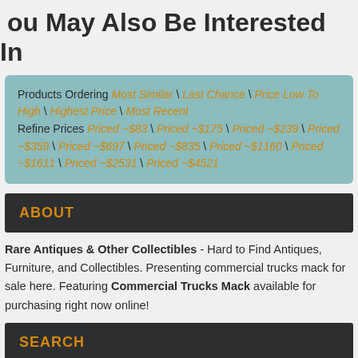You May Also Be Interested In
Products Ordering Most Similar \ Last Chance \ Price Low To High \ Highest Price \ Most Recent Refine Prices Priced ~$83 \ Priced ~$175 \ Priced ~$239 \ Priced ~$359 \ Priced ~$697 \ Priced ~$835 \ Priced ~$1160 \ Priced ~$1611 \ Priced ~$2531 \ Priced ~$4521
ABOUT
Rare Antiques & Other Collectibles - Hard to Find Antiques, Furniture, and Collectibles. Presenting commercial trucks mack for sale here. Featuring Commercial Trucks Mack available for purchasing right now online!
SEARCH